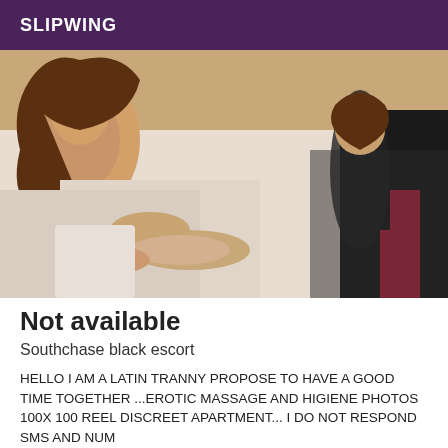SLIPWING
[Figure (photo): A young woman with long dark brown hair posing on a bed with white floral bedding, wearing dark clothing and fishnet stockings with red heels in the background.]
Not available
Southchase black escort
HELLO I AM A LATIN TRANNY PROPOSE TO HAVE A GOOD TIME TOGETHER ...EROTIC MASSAGE AND HIGIENE PHOTOS 100X 100 REEL DISCREET APARTMENT... I DO NOT RESPOND SMS AND NUM